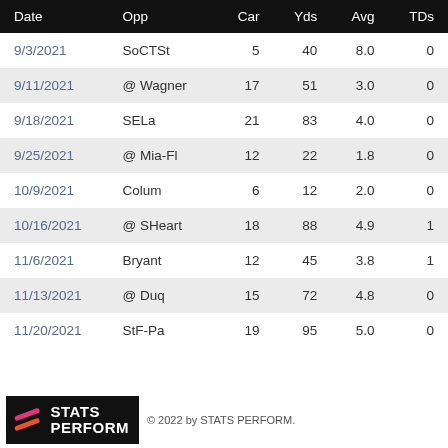| Date | Opp | Car | Yds | Avg | TDs |
| --- | --- | --- | --- | --- | --- |
| 9/3/2021 | SoCTSt | 5 | 40 | 8.0 | 0 |
| 9/11/2021 | @ Wagner | 17 | 51 | 3.0 | 0 |
| 9/18/2021 | SELa | 21 | 83 | 4.0 | 0 |
| 9/25/2021 | @ Mia-Fl | 12 | 22 | 1.8 | 0 |
| 10/9/2021 | Colum | 6 | 12 | 2.0 | 0 |
| 10/16/2021 | @ SHeart | 18 | 88 | 4.9 | 1 |
| 11/6/2021 | Bryant | 12 | 45 | 3.8 | 1 |
| 11/13/2021 | @ Duq | 15 | 72 | 4.8 | 0 |
| 11/20/2021 | StF-Pa | 19 | 95 | 5.0 | 0 |
© 2022 by STATS PERFORM.